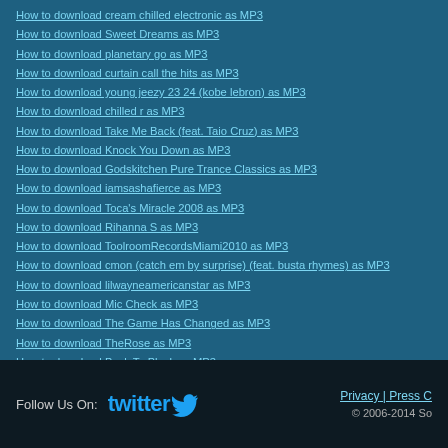How to download cream chilled electronic as MP3
How to download Sweet Dreams as MP3
How to download planetary go as MP3
How to download curtain call the hits as MP3
How to download young jeezy 23 24 (kobe lebron) as MP3
How to download chilled r as MP3
How to download Take Me Back (feat. Taio Cruz) as MP3
How to download Knock You Down as MP3
How to download Godskitchen Pure Trance Classics as MP3
How to download iamsashafierce as MP3
How to download Toca's Miracle 2008 as MP3
How to download Rihanna S as MP3
How to download ToolroomRecordsMiami2010 as MP3
How to download cmon (catch em by surprise) (feat. busta rhymes) as MP3
How to download lilwayneamericanstar as MP3
How to download Mic Check as MP3
How to download The Game Has Changed as MP3
How to download TheRose as MP3
How to download Back To Black as MP3
How to download You Used To Hold Me as MP3
Follow Us On: twitter  Privacy | Press C  © 2006-2014 So